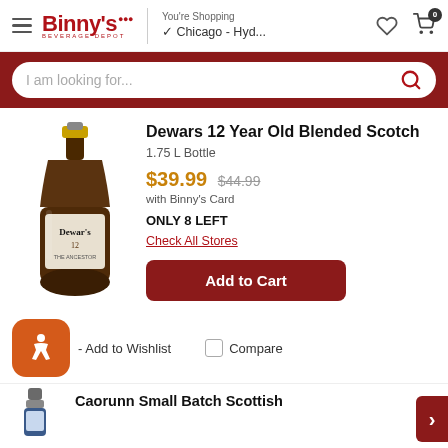Binny's Beverage Depot — You're Shopping Chicago - Hyd...
I am looking for...
[Figure (photo): Bottle of Dewars 12 Year Old Blended Scotch whisky, 1.75L, amber glass bottle with label]
Dewars 12 Year Old Blended Scotch
1.75 L Bottle
$39.99  $44.99
with Binny's Card
ONLY 8 LEFT
Check All Stores
Add to Cart
Add to Wishlist
Compare
Caorunn Small Batch Scottish
[Figure (photo): Partial bottle of Caorunn Small Batch Scottish spirit at bottom of page]